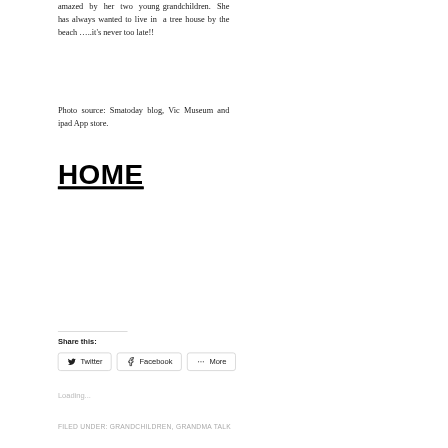amazed by her two young grandchildren. She has always wanted to live in a tree house by the beach …..it's never too late!!
Photo source: Smatoday blog, Vic Museum and ipad App store.
HOME
Share this:
Twitter  Facebook  More
Loading...
FILED UNDER: GRANDCHILDREN, GRANDMA TALK